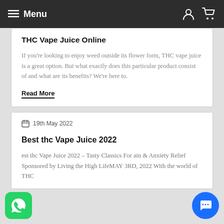Menu
THC Vape Juice Online
If you're looking to enjoy weed outside its flower form, THC vape juice is a great option. But what exactly does this particular product consist of and what are its benefits? We're here to.
Read More
19th May 2022
Best thc Vape Juice 2022
Best thc Vape Juice 2022 – Tasty Classics For Pain & Anxiety Relief Sponsored by Living the High LifeMAY 3RD, 2022 With the world of THC